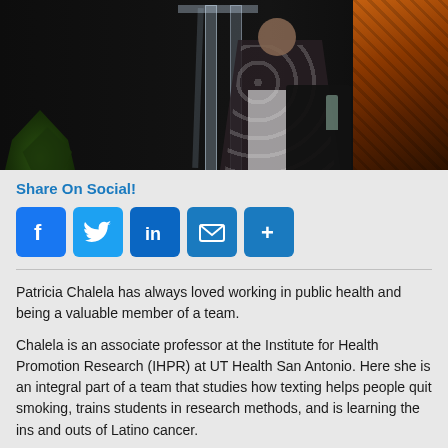[Figure (photo): A person speaking at a clear/acrylic podium on a dark stage, wearing a black and white patterned top. An orange-textured figure is visible on the right. A dark chair and green plant fern are also visible.]
Share On Social!
[Figure (infographic): Social media sharing buttons: Facebook, Twitter, LinkedIn, Email, and More (+)]
Patricia Chalela has always loved working in public health and being a valuable member of a team.
Chalela is an associate professor at the Institute for Health Promotion Research (IHPR) at UT Health San Antonio. Here she is an integral part of a team that studies how texting helps people quit smoking, trains students in research methods, and is learning the ins and outs of Latino cancer.